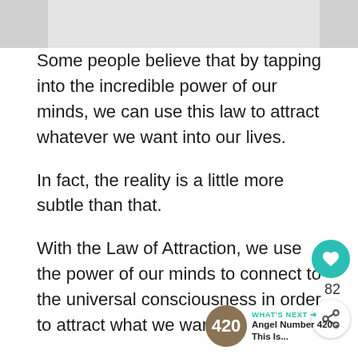[Figure (photo): Partial image at top of page (cropped, gray background visible)]
Some people believe that by tapping into the incredible power of our minds, we can use this law to attract whatever we want into our lives.
In fact, the reality is a little more subtle than that.
With the Law of Attraction, we use the power of our minds to connect to the universal consciousness in order to attract what we want
The Law of Attraction means that we are a magnet for what we give out.
If we always complain, say nasty things about